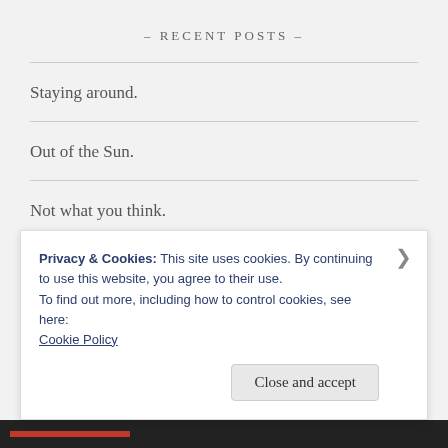– RECENT POSTS –
Staying around.
Out of the Sun.
Not what you think.
Summertime
What my garden really thinks of me!
Privacy & Cookies: This site uses cookies. By continuing to use this website, you agree to their use.
To find out more, including how to control cookies, see here:
Cookie Policy
Close and accept